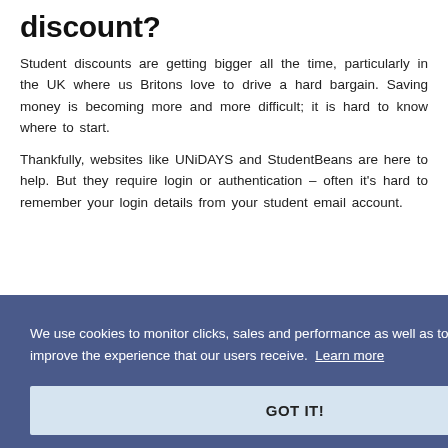discount?
Student discounts are getting bigger all the time, particularly in the UK where us Britons love to drive a hard bargain. Saving money is becoming more and more difficult; it is hard to know where to start.
Thankfully, websites like UNiDAYS and StudentBeans are here to help. But they require login or authentication – often it's hard to remember your login details from your student email account.
[Figure (screenshot): Cookie consent overlay banner with dark blue-purple background. Text reads: 'We use cookies to monitor clicks, sales and performance as well as to optimise & improve the experience that our users receive. Learn more' with a 'GOT IT!' button.]
Does Dreambooks work with